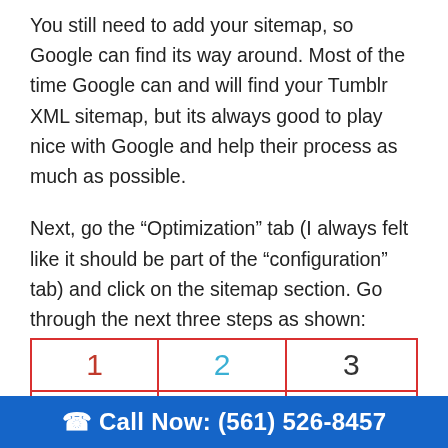You still need to add your sitemap, so Google can find its way around.  Most of the time Google can and will find your Tumblr XML sitemap, but its always good to play nice with Google and help their process as much as possible.
Next, go the “Optimization” tab (I always felt like it should be part of the “configuration” tab) and click on the sitemap section. Go through the next three steps as shown:
| 1 | 2 | 3 |
| --- | --- | --- |
| Google |  |  |
Call Now: (561) 526-8457